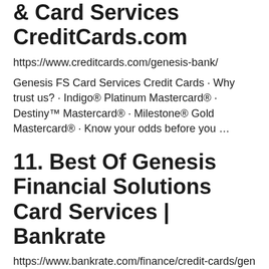& Card Services CreditCards.com
https://www.creditcards.com/genesis-bank/
Genesis FS Card Services Credit Cards · Why trust us? · Indigo® Platinum Mastercard® · Destiny™ Mastercard® · Milestone® Gold Mastercard® · Know your odds before you …
11. Best Of Genesis Financial Solutions Card Services | Bankrate
https://www.bankrate.com/finance/credit-cards/genesis-financial-solutions/
Mar 2, 2021 — In many ways, the Indigo